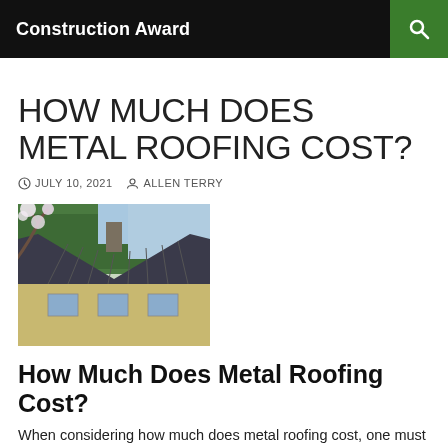Construction Award
HOW MUCH DOES METAL ROOFING COST?
JULY 10, 2021   ALLEN TERRY
[Figure (photo): Photo of a metal roof on a house with trees in the background]
How Much Does Metal Roofing Cost?
When considering how much does metal roofing cost, one must first consider what is being covered. Most people who